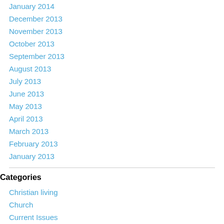January 2014
December 2013
November 2013
October 2013
September 2013
August 2013
July 2013
June 2013
May 2013
April 2013
March 2013
February 2013
January 2013
Categories
Christian living
Church
Current Issues